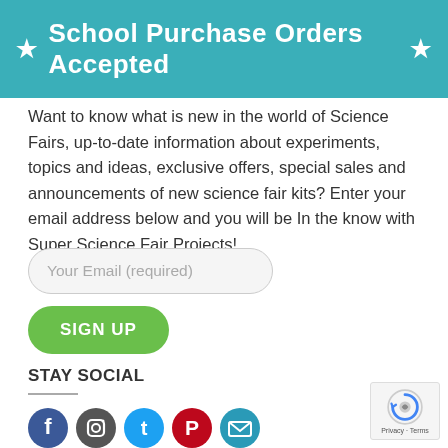School Purchase Orders Accepted
Want to know what is new in the world of Science Fairs, up-to-date information about experiments, topics and ideas, exclusive offers, special sales and announcements of new science fair kits? Enter your email address below and you will be In the know with Super Science Fair Projects!
[Figure (other): Email input field labeled 'Your Email (required)' with rounded pill shape]
[Figure (other): Green rounded 'SIGN UP' button]
STAY SOCIAL
[Figure (other): Row of social media icons: Facebook, Instagram, Twitter/X, Pinterest, Email/envelope]
[Figure (other): reCAPTCHA badge with Privacy and Terms links]